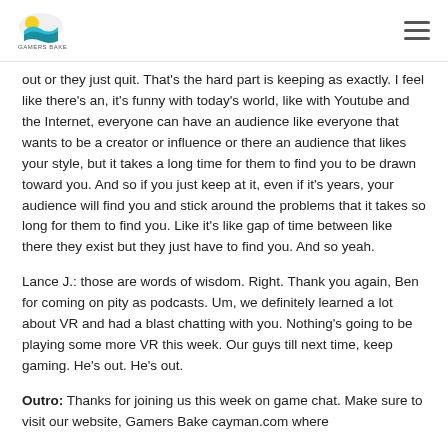Gamers Bake logo and navigation menu
out or they just quit. That's the hard part is keeping as exactly. I feel like there's an, it's funny with today's world, like with Youtube and the Internet, everyone can have an audience like everyone that wants to be a creator or influence or there an audience that likes your style, but it takes a long time for them to find you to be drawn toward you. And so if you just keep at it, even if it's years, your audience will find you and stick around the problems that it takes so long for them to find you. Like it's like gap of time between like there they exist but they just have to find you. And so yeah.
Lance J.: those are words of wisdom. Right. Thank you again, Ben for coming on pity as podcasts. Um, we definitely learned a lot about VR and had a blast chatting with you. Nothing's going to be playing some more VR this week. Our guys till next time, keep gaming. He's out. He's out.
Outro: Thanks for joining us this week on game chat. Make sure to visit our website, Gamers Bake cayman.com where